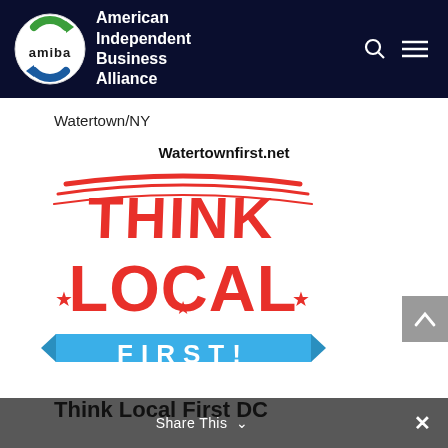American Independent Business Alliance
Watertown/NY
Watertownfirst.net
[Figure (logo): Think Local First logo: large red stylized text reading THINK LOCAL with stars, and a blue banner ribbon at the bottom reading FIRST!]
Share This
Think Local First DC